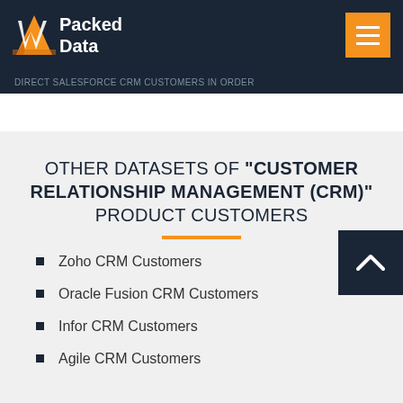Packed Data
DIRECT SALESFORCE CRM CUSTOMERS IN ORDER
OTHER DATASETS OF "CUSTOMER RELATIONSHIP MANAGEMENT (CRM)" PRODUCT CUSTOMERS
Zoho CRM Customers
Oracle Fusion CRM Customers
Infor CRM Customers
Agile CRM Customers